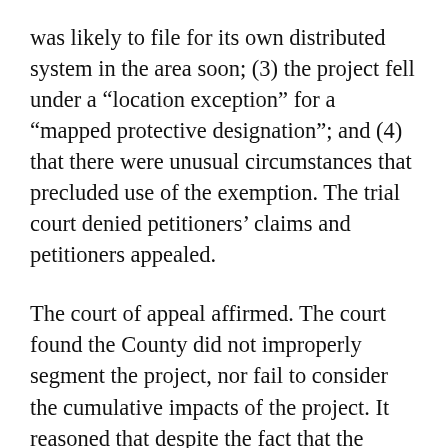was likely to file for its own distributed system in the area soon; (3) the project fell under a “location exception” for a “mapped protective designation”; and (4) that there were unusual circumstances that precluded use of the exemption. The trial court denied petitioners’ claims and petitioners appealed.
The court of appeal affirmed. The court found the County did not improperly segment the project, nor fail to consider the cumulative impacts of the project. It reasoned that despite the fact that the applicant filed for separate permits for each microcell, the record was clear that the County had always treated the microcells together as one project which was authorized under the terms of the section 15303 exemption which uses the plural when describing the number and type of structures eligible for the exemption. The court most rejected...